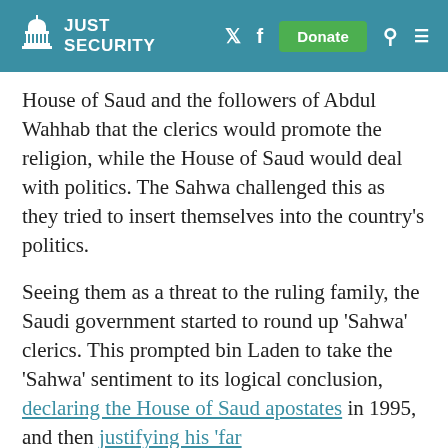JUST SECURITY
House of Saud and the followers of Abdul Wahhab that the clerics would promote the religion, while the House of Saud would deal with politics. The Sahwa challenged this as they tried to insert themselves into the country’s politics.
Seeing them as a threat to the ruling family, the Saudi government started to round up ‘Sahwa’ clerics. This prompted bin Laden to take the ‘Sahwa’ sentiment to its logical conclusion, declaring the House of Saud apostates in 1995, and then justifying his ‘far